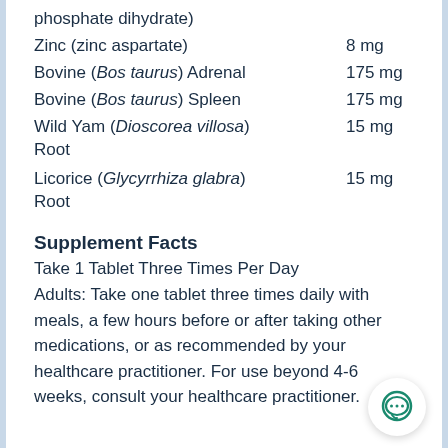phosphate dihydrate)
Zinc (zinc aspartate)   8 mg
Bovine (Bos taurus) Adrenal   175 mg
Bovine (Bos taurus) Spleen   175 mg
Wild Yam (Dioscorea villosa) Root   15 mg
Licorice (Glycyrrhiza glabra) Root   15 mg
Supplement Facts
Take 1 Tablet Three Times Per Day
Adults: Take one tablet three times daily with meals, a few hours before or after taking other medications, or as recommended by your healthcare practitioner. For use beyond 4-6 weeks, consult your healthcare practitioner.